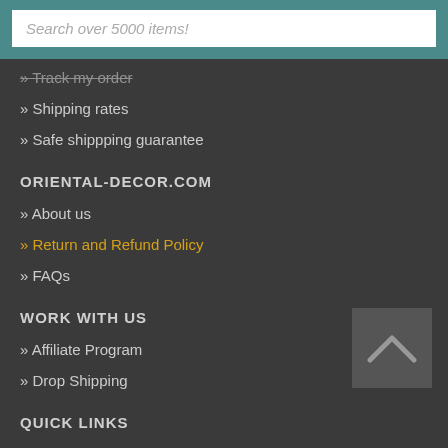Search over 5000 items!
» Track my order
» Shipping rates
» Safe shippping guarantee
ORIENTAL-DECOR.COM
» About us
» Return and Refund Policy
» FAQs
WORK WITH US
» Affiliate Program
» Drop Shipping
QUICK LINKS
» Library
» Sitemap